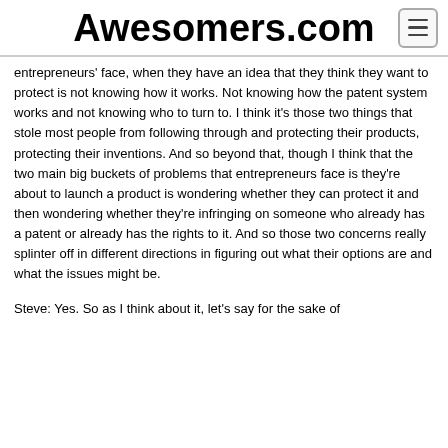Awesomers.com
entrepreneurs' face, when they have an idea that they think they want to protect is not knowing how it works. Not knowing how the patent system works and not knowing who to turn to. I think it's those two things that stole most people from following through and protecting their products, protecting their inventions. And so beyond that, though I think that the two main big buckets of problems that entrepreneurs face is they're about to launch a product is wondering whether they can protect it and then wondering whether they're infringing on someone who already has a patent or already has the rights to it. And so those two concerns really splinter off in different directions in figuring out what their options are and what the issues might be.
Steve: Yes. So as I think about it, let's say for the sake of